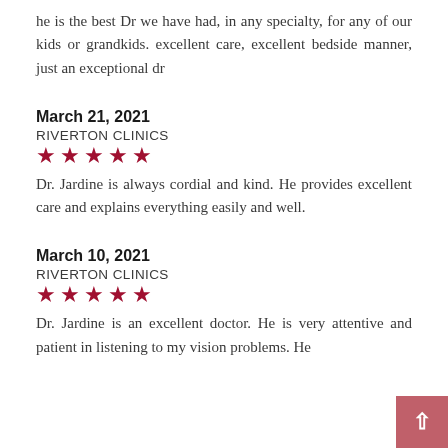he is the best Dr we have had, in any specialty, for any of our kids or grandkids. excellent care, excellent bedside manner, just an exceptional dr
March 21, 2021
RIVERTON CLINICS
[Figure (infographic): Five red stars rating]
Dr. Jardine is always cordial and kind. He provides excellent care and explains everything easily and well.
March 10, 2021
RIVERTON CLINICS
[Figure (infographic): Five red stars rating]
Dr. Jardine is an excellent doctor. He is very attentive and patient in listening to my vision problems. He